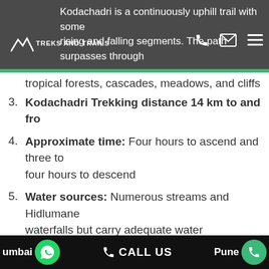Kodachadri is a continuously uphill trail with some rising and falling segments. The path surpasses through tropical forests, cascades, meadows, and cliffs
3. Kodachadri Trekking distance 14 km to and fro
4. Approximate time: Four hours to ascend and three to four hours to descend
5. Water sources: Numerous streams and Hidlumane waterfalls but carry adequate water
6. Best months to visit: Kodachadri is beautiful throughout the year. The best months are September to February as during heavy monsoons, the trail becomes mucky and slippery, which makes the descent
Mumbai  CALL US  Pune